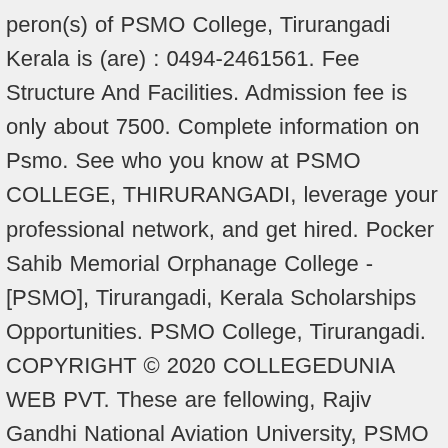peron(s) of PSMO College, Tirurangadi Kerala is (are) : 0494-2461561. Fee Structure And Facilities. Admission fee is only about 7500. Complete information on Psmo. See who you know at PSMO COLLEGE, THIRURANGADI, leverage your professional network, and get hired. Pocker Sahib Memorial Orphanage College - [PSMO], Tirurangadi, Kerala Scholarships Opportunities. PSMO College, Tirurangadi. COPYRIGHT © 2020 COLLEGEDUNIA WEB PVT. These are fellowing, Rajiv Gandhi National Aviation University, PSMO College, Admission, IGNOU, Courses, 2020-2021, (IGNOU) Indira Gandhi National Open University, Punjab University Fee Structure 2020-2021 List of Courses, S.C. College Ballia, Admission, IGNOU, Courses, 2020-21, Annamalai University, Tamil Nadu Admission 2020-21, IGNOU – Ranchi, Regional